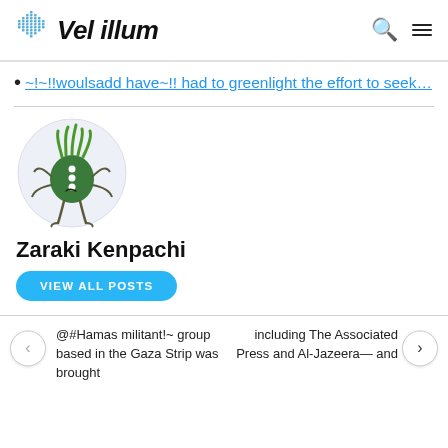Vel illum
~!~!!woulsadd have~!! had to greenlight the effort to seek…
[Figure (illustration): Cartoon illustration of a green monster-like creature with tentacles on its head, white dots on its body, and spindly legs, on a light purple circular background.]
Zaraki Kenpachi
VIEW ALL POSTS
@#Hamas militant!~ group based in the Gaza Strip was brought
including The Associated Press and Al-Jazeera— and